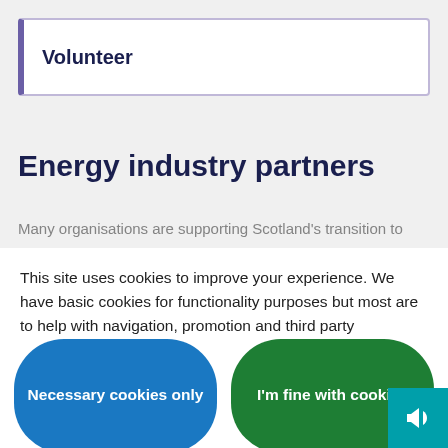Volunteer
Energy industry partners
Many organisations are supporting Scotland's transition to
This site uses cookies to improve your experience. We have basic cookies for functionality purposes but most are to help with navigation, promotion and third party resources. View cookie policy.
Necessary cookies only
I'm fine with cookies